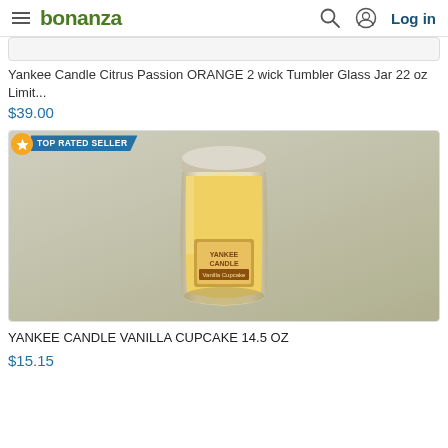bonanza — Log in
[Figure (photo): Partial product card showing bottom edge of a product image (Yankee Candle Citrus Passion ORANGE 2 wick Tumbler Glass Jar 22 oz Limit...)]
Yankee Candle Citrus Passion ORANGE 2 wick Tumbler Glass Jar 22 oz Limit...
$39.00
[Figure (photo): Yankee Candle Vanilla Cupcake 14.5 oz jar candle with yellow wax, glass jar with label, on dark surface. TOP RATED SELLER badge in upper left corner.]
YANKEE CANDLE VANILLA CUPCAKE 14.5 OZ
$15.15